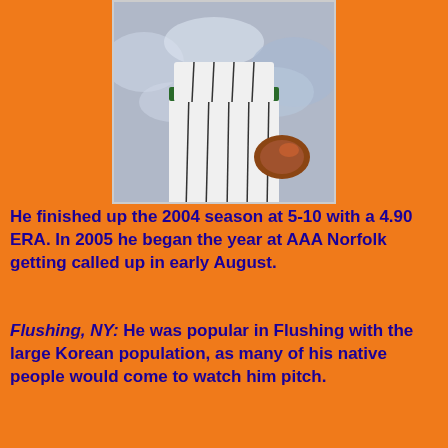[Figure (photo): Baseball player in white uniform with dark pinstripes, wearing a glove, cropped showing torso and lower body. Background shows blurred crowd.]
He finished up the 2004 season at 5-10 with a 4.90 ERA. In 2005 he began the year at AAA Norfolk getting called up in early August.
Flushing, NY: He was popular in Flushing with the large Korean population, as many of his native people would come to watch him pitch.
Unfortunately, he did not get along well with Mets pitching Coach Rick Peterson, who tried to keep changing his pitching style to make up for his lack of a good fastball. He finally seemed to use Peterson's advice and developed a splitter & good slider.